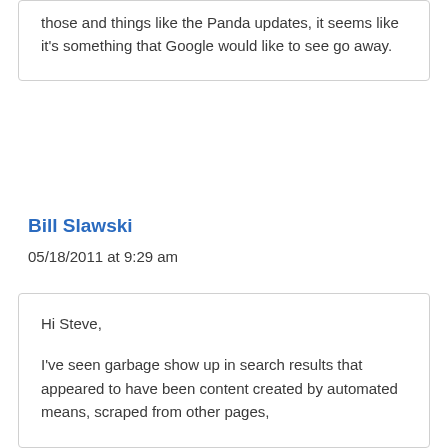those and things like the Panda updates, it seems like it's something that Google would like to see go away.
Bill Slawski
05/18/2011 at 9:29 am
Hi Steve,

I've seen garbage show up in search results that appeared to have been content created by automated means, scraped from other pages,